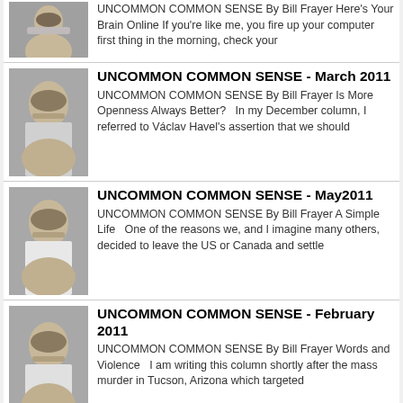UNCOMMON COMMON SENSE By Bill Frayer Here's Your Brain Online If you're like me, you fire up your computer first thing in the morning, check your
UNCOMMON COMMON SENSE - March 2011
UNCOMMON COMMON SENSE By Bill Frayer Is More Openness Always Better? In my December column, I referred to Václav Havel's assertion that we should
UNCOMMON COMMON SENSE - May2011
UNCOMMON COMMON SENSE By Bill Frayer A Simple Life One of the reasons we, and I imagine many others, decided to leave the US or Canada and settle
UNCOMMON COMMON SENSE - February 2011
UNCOMMON COMMON SENSE By Bill Frayer Words and Violence I am writing this column shortly after the mass murder in Tucson, Arizona which targeted
Wordwise With Pithy Wit - January 2011
Wordwise With Pithy Wit By Tom Clarkson This morning, my pal F.T. – who shared the Iraq experience with me during my third trek there – forwarded
Victoria Schmidt
VICTORIA SCHMIDT Column: Editor's Page Website: Victoria Schmidt came to Mexico with her husband, in 2007